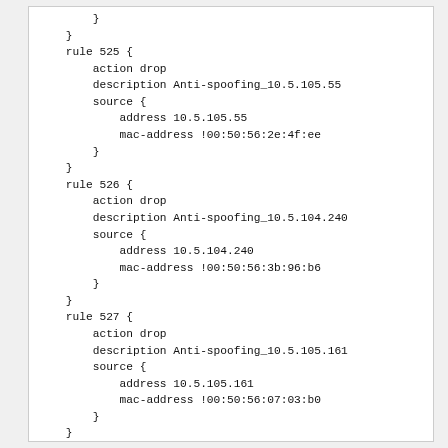}
    }
    rule 525 {
        action drop
        description Anti-spoofing_10.5.105.55
        source {
            address 10.5.105.55
            mac-address !00:50:56:2e:4f:ee
        }
    }
    rule 526 {
        action drop
        description Anti-spoofing_10.5.104.240
        source {
            address 10.5.104.240
            mac-address !00:50:56:3b:96:b6
        }
    }
    rule 527 {
        action drop
        description Anti-spoofing_10.5.105.161
        source {
            address 10.5.105.161
            mac-address !00:50:56:07:03:b0
        }
    }
    rule 528 {
        action drop
        description Anti-spoofing_10.5.104.230
        source {
            address 10.5.104.230